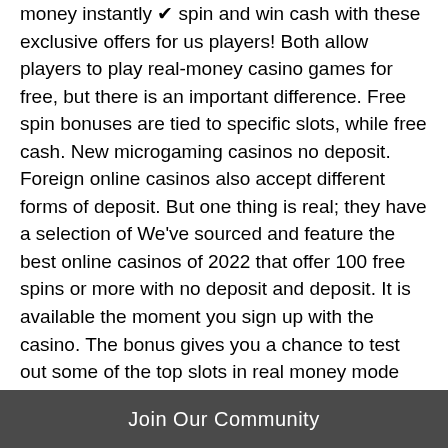money instantly ✔ spin and win cash with these exclusive offers for us players! Both allow players to play real-money casino games for free, but there is an important difference. Free spin bonuses are tied to specific slots, while free cash. New microgaming casinos no deposit. Foreign online casinos also accept different forms of deposit. But one thing is real; they have a selection of We've sourced and feature the best online casinos of 2022 that offer 100 free spins or more with no deposit and deposit. It is available the moment you sign up with the casino. The bonus gives you a chance to test out some of the top slots in real money mode without spending from. Collecting casino free spins online is one of the best ways to have some cost-free fun with the very real chance of winning cash. These
Join Our Community